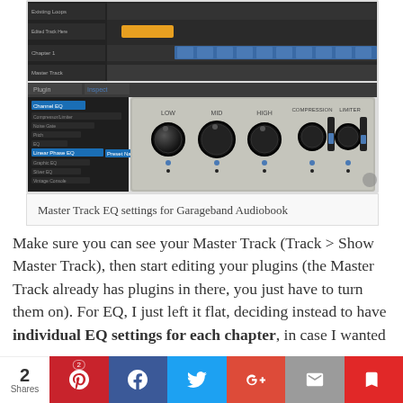[Figure (screenshot): Screenshot of GarageBand DAW showing the Master Track EQ settings and plugin interface with knobs for Low, Mid, High, Compression, and Limiter controls]
Master Track EQ settings for Garageband Audiobook
Make sure you can see your Master Track (Track > Show Master Track), then start editing your plugins (the Master Track already has plugins in there, you just have to turn them on). For EQ, I just left it flat, deciding instead to have individual EQ settings for each chapter, in case I wanted
2 Shares [Pinterest] [Facebook] [Twitter] [G+] [Email] [Flipboard]